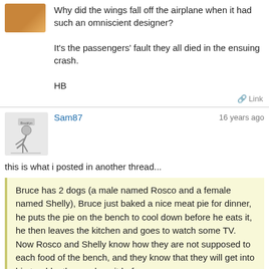[Figure (photo): Avatar image showing a food item, orange-brown coloring]
Why did the wings fall off the airplane when it had such an omniscient designer?

It's the passengers' fault they all died in the ensuing crash.

HB
Link
[Figure (illustration): Avatar image of Sam87 showing a person bending down, black and white illustration]
Sam87
16 years ago
this is what i posted in another thread...
Bruce has 2 dogs (a male named Rosco and a female named Shelly), Bruce just baked a nice meat pie for dinner, he puts the pie on the bench to cool down before he eats it, he then leaves the kitchen and goes to watch some TV.
Now Rosco and Shelly know how they are not supposed to each food of the bench, and they know that they will get into big trouble, theyve done it before